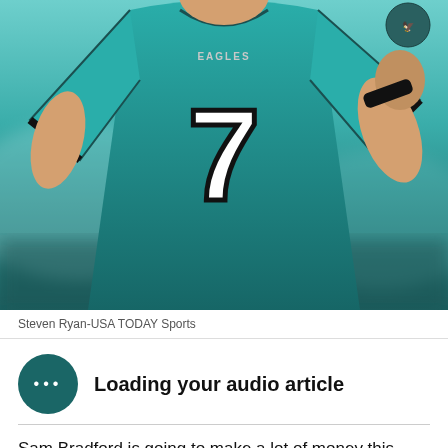[Figure (photo): Philadelphia Eagles player wearing teal jersey number 7, running or celebrating, photographed from the torso up]
Steven Ryan-USA TODAY Sports
Loading your audio article
Sam Bradford is going to make a lot of money this offseason. The 28-year-old quarterback is set to be a free agent in March and he's arguably the best option of a weak market. The Philadelphia Eagles might try to sign Bradford to a contract extension before then,